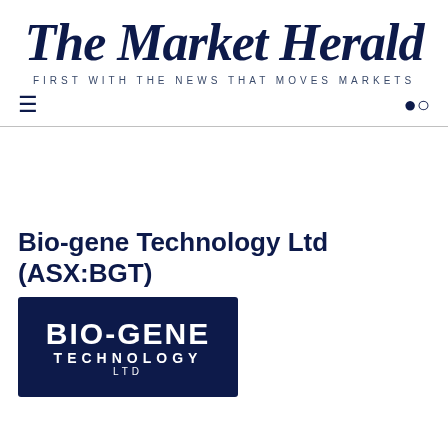The Market Herald
FIRST WITH THE NEWS THAT MOVES MARKETS
Bio-gene Technology Ltd (ASX:BGT)
[Figure (logo): Bio-Gene Technology Ltd company logo - dark navy background with white text reading BIO-GENE TECHNOLOGY LTD]